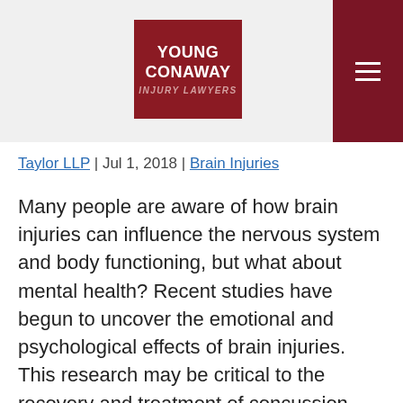[Figure (logo): Young Conaway Injury Lawyers logo — dark red square with white text 'YOUNG CONAWAY' and italic subtitle 'INJURY LAWYERS'. Hamburger menu icon on dark red background at top right.]
Taylor LLP | Jul 1, 2018 | Brain Injuries
Many people are aware of how brain injuries can influence the nervous system and body functioning, but what about mental health? Recent studies have begun to uncover the emotional and psychological effects of brain injuries. This research may be critical to the recovery and treatment of concussion patients in Delaware and across the United States.
According to several recent studies,